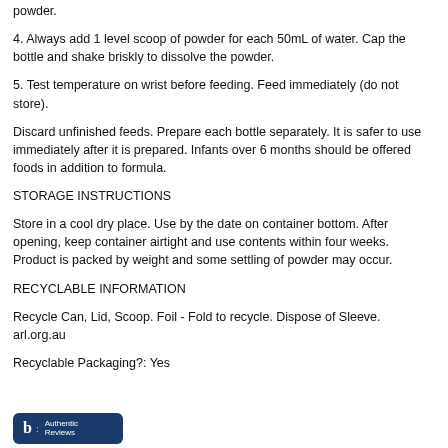powder.
4. Always add 1 level scoop of powder for each 50mL of water. Cap the bottle and shake briskly to dissolve the powder.
5. Test temperature on wrist before feeding. Feed immediately (do not store).
Discard unfinished feeds. Prepare each bottle separately. It is safer to use immediately after it is prepared. Infants over 6 months should be offered foods in addition to formula.
STORAGE INSTRUCTIONS
Store in a cool dry place. Use by the date on container bottom. After opening, keep container airtight and use contents within four weeks. Product is packed by weight and some settling of powder may occur.
RECYCLABLE INFORMATION
Recycle Can, Lid, Scoop. Foil - Fold to recycle. Dispose of Sleeve. arl.org.au
Recyclable Packaging?: Yes
[Figure (logo): Bazaarvoice Authentic Reviews logo — dark blue rounded rectangle with 'b:' and 'Authentic Reviews' text in white]